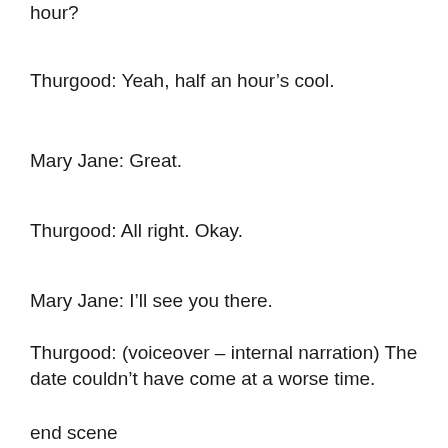hour?
Thurgood: Yeah, half an hour's cool.
Mary Jane: Great.
Thurgood: All right. Okay.
Mary Jane: I'll see you there.
Thurgood: (voiceover – internal narration) The date couldn't have come at a worse time.
end scene